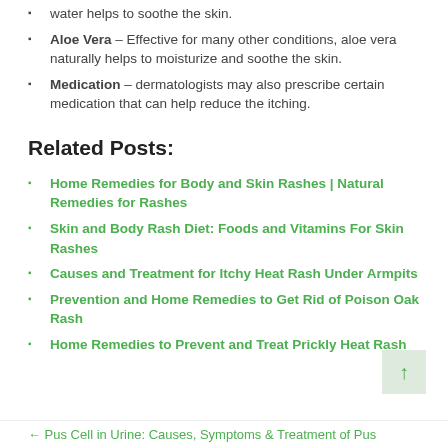water helps to soothe the skin.
Aloe Vera – Effective for many other conditions, aloe vera naturally helps to moisturize and soothe the skin.
Medication – dermatologists may also prescribe certain medication that can help reduce the itching.
Related Posts:
Home Remedies for Body and Skin Rashes | Natural Remedies for Rashes
Skin and Body Rash Diet: Foods and Vitamins For Skin Rashes
Causes and Treatment for Itchy Heat Rash Under Armpits
Prevention and Home Remedies to Get Rid of Poison Oak Rash
Home Remedies to Prevent and Treat Prickly Heat Rash
← Pus Cell in Urine: Causes, Symptoms & Treatment of Pus